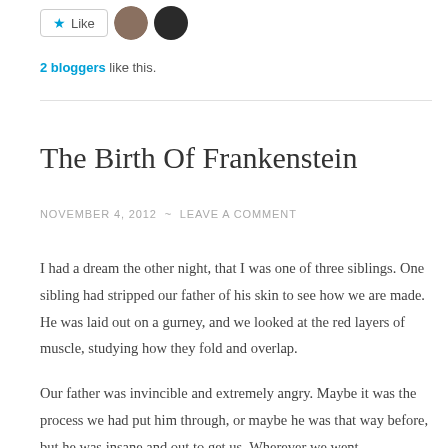[Figure (other): Like button with star icon and two blogger avatar thumbnails]
2 bloggers like this.
The Birth Of Frankenstein
NOVEMBER 4, 2012 ~ LEAVE A COMMENT
I had a dream the other night, that I was one of three siblings. One sibling had stripped our father of his skin to see how we are made. He was laid out on a gurney, and we looked at the red layers of muscle, studying how they fold and overlap.
Our father was invincible and extremely angry. Maybe it was the process we had put him through, or maybe he was that way before, but he was insane and out to get us. Wherever we went, he followed and we had to hide. We are made as we can be remade.